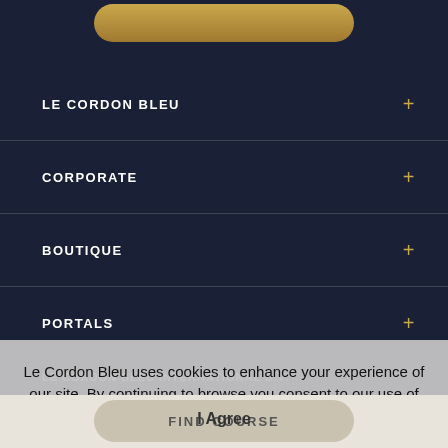LE CORDON BLEU +
CORPORATE +
BOUTIQUE +
PORTALS +
LE CORDON BLEU INTERNATIONAL B.V. +
Herengracht 28
Amsterdam / 1015 BK
Netherlands
Le Cordon Bleu uses cookies to enhance your experience of our site. By continuing to browse you consent to our use of cookies. Find out more
I Agree